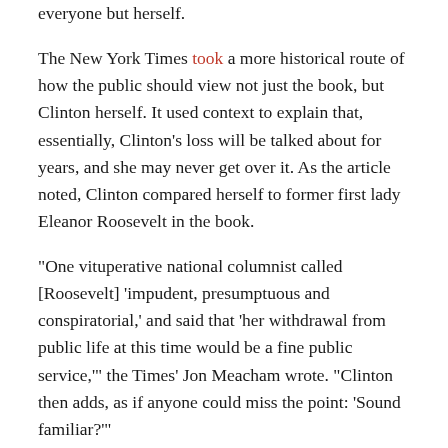everyone but herself.
The New York Times took a more historical route of how the public should view not just the book, but Clinton herself. It used context to explain that, essentially, Clinton's loss will be talked about for years, and she may never get over it. As the article noted, Clinton compared herself to former first lady Eleanor Roosevelt in the book.
“One vituperative national columnist called [Roosevelt] ‘impudent, presumptuous and conspiratorial,’ and said that ‘her withdrawal from public life at this time would be a fine public service,’” the Times’ Jon Meacham wrote. “Clinton then adds, as if anyone could miss the point: ‘Sound familiar?’”
Meanwhile, the Washington Post and The Guardian took more scathing positions. The Post’s approach, at least in the form of a political cartoon, was much harsher and advertised the book as a plea for forgiveness and a litany